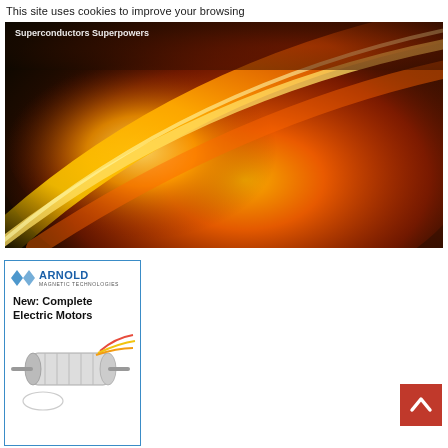This site uses cookies to improve your browsing
[Figure (photo): Abstract close-up photograph with dark background and a sweeping arc of warm orange-yellow-gold light, resembling a superconductor or metallic surface. Caption overlay reads 'Superconductors Superpowers'.]
Superconductors Superpowers
[Figure (photo): Arnold Magnetic Technologies advertisement showing logo, tagline 'New: Complete Electric Motors', and an image of an electric motor with colored wires.]
[Figure (other): Back-to-top button: red square with white upward chevron arrow.]